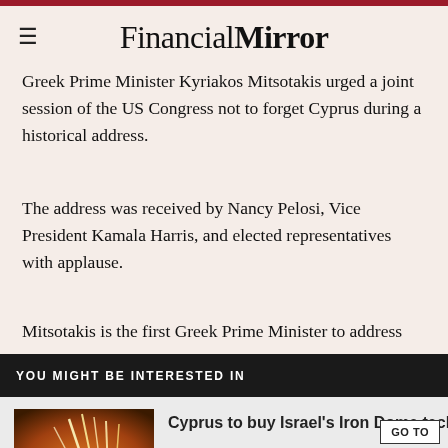FinancialMirror
Greek Prime Minister Kyriakos Mitsotakis urged a joint session of the US Congress not to forget Cyprus during a historical address.
The address was received by Nancy Pelosi, Vice President Kamala Harris, and elected representatives with applause.
Mitsotakis is the first Greek Prime Minister to address
YOU MIGHT BE INTERESTED IN
Cyprus to buy Israel's Iron Dome technology
[Figure (photo): Iron Dome missile defense system firing at night, orange light streaks in sky]
Eni, Total declare Cyprus gas discovery
[Figure (photo): Offshore gas drilling rig/ship at sea]
Ukraine, and s while making it s, not to forget an ending pain over nt division
GO TO